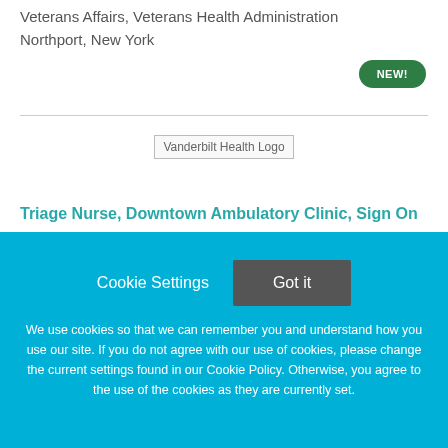Veterans Affairs, Veterans Health Administration
Northport, New York
[Figure (logo): Vanderbilt Health Logo placeholder image]
Triage Nurse, Downtown Ambulatory Clinic, Sign On
Cookie Settings   Got it
We use cookies so that we can remember you and understand how you use our site. If you do not agree with our use of cookies, please change the current settings found in our Cookie Policy. Otherwise, you agree to the use of the cookies as they are currently set.